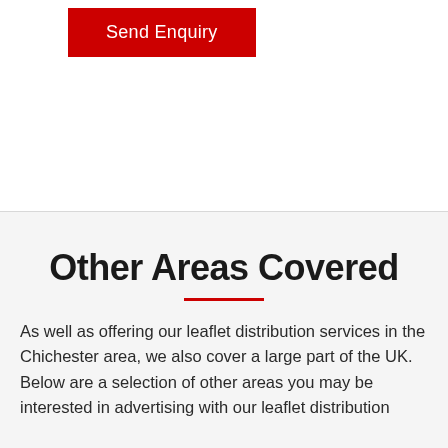Send Enquiry
Other Areas Covered
As well as offering our leaflet distribution services in the Chichester area, we also cover a large part of the UK. Below are a selection of other areas you may be interested in advertising with our leaflet distribution